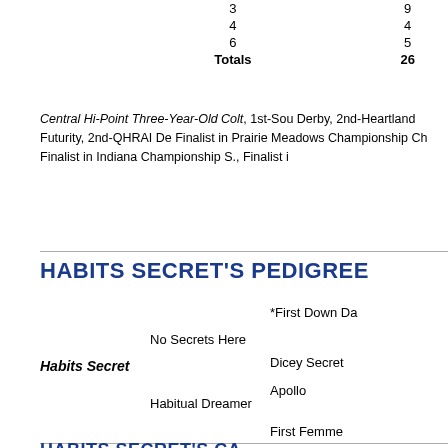|  | 3 |  | 9 |
|  | 4 |  | 4 |
|  | 6 |  | 5 |
|  | Totals |  | 26 |
Central Hi-Point Three-Year-Old Colt, 1st-Sou Derby, 2nd-Heartland Futurity, 2nd-QHRAI De Finalist in Prairie Meadows Championship Ch Finalist in Indiana Championship S., Finalist i
HABITS SECRET'S PEDIGREE
Habits Secret — No Secrets Here — *First Down Da / Dicey Secret
Habitual Dreamer — Apollo / First Femme
HABITS SECRET'S CATA...